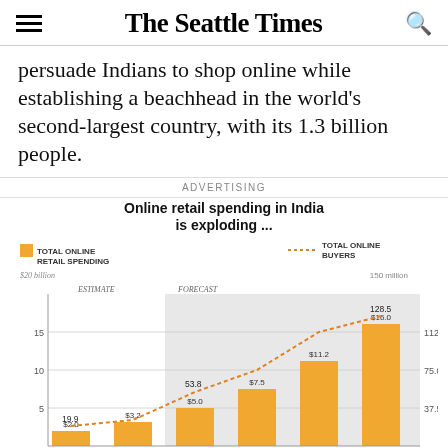The Seattle Times
persuade Indians to shop online while establishing a beachhead in the world's second-largest country, with its 1.3 billion people.
ADVERTISING
[Figure (bar-chart): Bar chart showing online retail spending in India (orange bars, billions USD) with dotted line for total online buyers (millions). Estimate period up to 2015, forecast 2015 onward.]